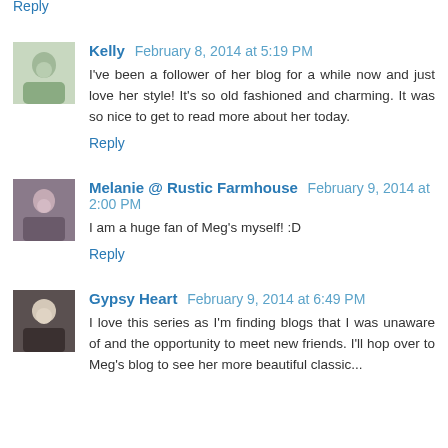Thanks for sharing Farmhouse 5540, Susan.
Reply
Kelly  February 8, 2014 at 5:19 PM
I've been a follower of her blog for a while now and just love her style! It's so old fashioned and charming. It was so nice to get to read more about her today.
Reply
Melanie @ Rustic Farmhouse  February 9, 2014 at 2:00 PM
I am a huge fan of Meg's myself! :D
Reply
Gypsy Heart  February 9, 2014 at 6:49 PM
I love this series as I'm finding blogs that I was unaware of and the opportunity to meet new friends. I'll hop over to Meg's blog to see her more beautiful classic...